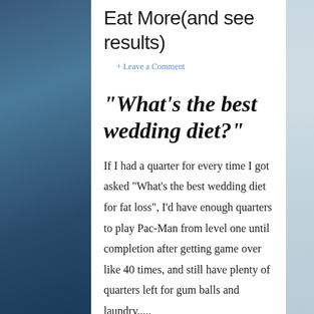Eat More(and see results)
+ Leave a Comment
“What’s the best wedding diet?”
If I had a quarter for every time I got asked “What’s the best wedding diet for fat loss”, I’d have enough quarters to play Pac-Man from level one until completion after getting game over like 40 times, and still have plenty of quarters left for gum balls and laundry.....